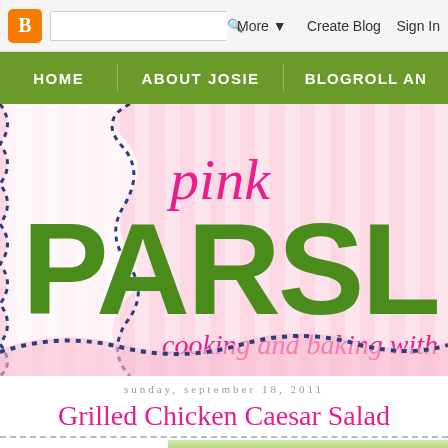Blogger toolbar: search box, More dropdown, Create Blog, Sign In
HOME | ABOUT JOSIE | BLOGROLL AN...
[Figure (logo): Pink Parsley blog logo with decorative scalloped border, pink cursive 'pink' text, large green bold 'PARSLEY' text (partially cropped), and pink cursive subtitle 'cooking and baking with...' on a pink striped background with navy dotted wave border]
sunday, september 18, 2011
Grilled Chicken Caesar Salad
[Figure (photo): Partial view of a food photo showing a Grilled Chicken Caesar Salad, cropped at bottom of page]